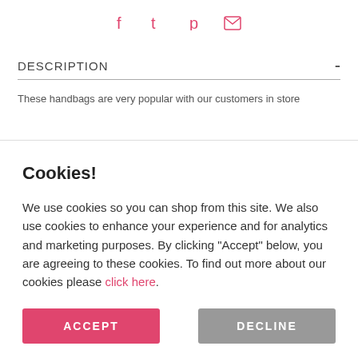[Figure (other): Social media share icons: Facebook, Twitter, Pinterest, Email in pink/red color]
DESCRIPTION
These handbags are very popular with our customers in store
Cookies!
We use cookies so you can shop from this site. We also use cookies to enhance your experience and for analytics and marketing purposes. By clicking "Accept" below, you are agreeing to these cookies. To find out more about our cookies please click here.
ACCEPT
DECLINE